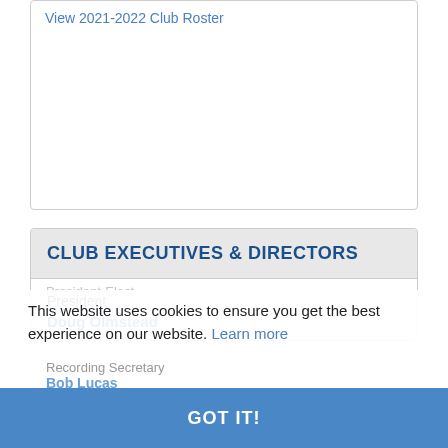View 2021-2022 Club Roster
CLUB EXECUTIVES & DIRECTORS
President
Doug Olmstead
Recording Secretary
Bob Lucas
Correspondence Secretary
This website uses cookies to ensure you get the best experience on our website. Learn more
GOT IT!